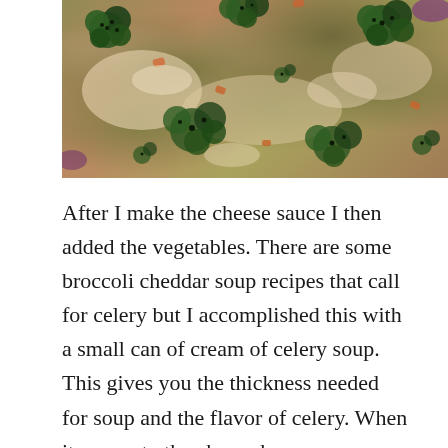[Figure (photo): Close-up photo of broccoli cheddar soup with visible broccoli florets, chopped vegetables, and creamy cheese sauce in a bowl or dish.]
After I make the cheese sauce I then added the vegetables. There are some broccoli cheddar soup recipes that call for celery but I accomplished this with a small can of cream of celery soup. This gives you the thickness needed for soup and the flavor of celery. When it comes to the cheese base you can use a half and half or any type of milk. I happened to have